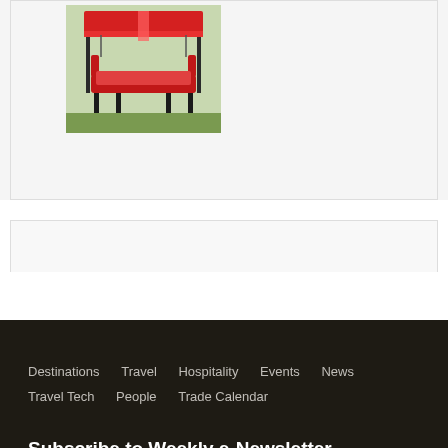[Figure (photo): Product photo showing a canopy swing or daybed with red fabric and black metal frame, outdoors]
Destinations   Travel   Hospitality   Events   News   Travel Tech   People   Trade Calendar
Subscribe to Weekly e-Newsletter
Enter Email Address